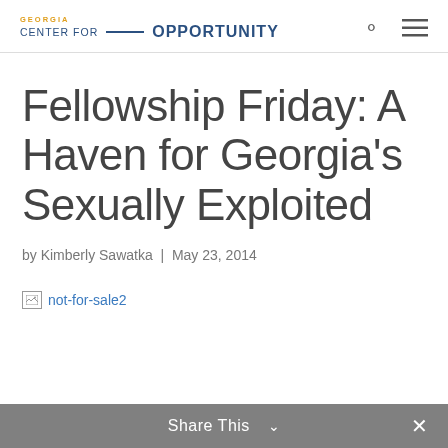GEORGIA CENTER FOR OPPORTUNITY
Fellowship Friday: A Haven for Georgia's Sexually Exploited
by Kimberly Sawatka | May 23, 2014
[Figure (other): Broken image placeholder labeled 'not-for-sale2']
Share This ∨  ×